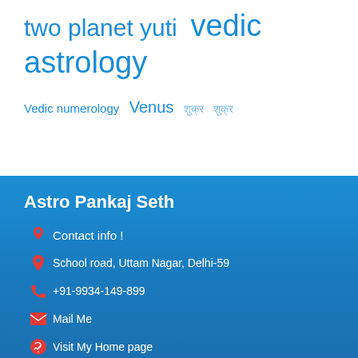two planet yuti  vedic astrology
Vedic numerology  Venus  शुक्र  शुक्र
Astro Pankaj Seth
Contact info !
School road, Uttam Nagar, Delhi-59
+91-9934-149-899
Mail Me
Visit My Home page
Astro S…